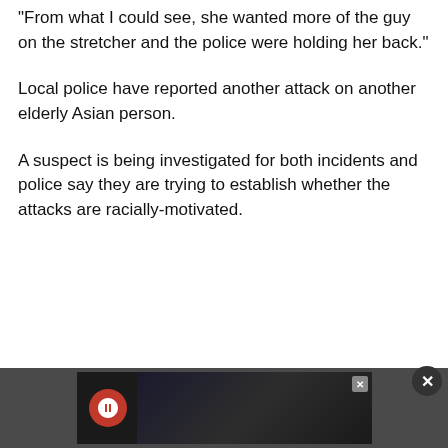“From what I could see, she wanted more of the guy on the stretcher and the police were holding her back.”
Local police have reported another attack on another elderly Asian person.
A suspect is being investigated for both incidents and police say they are trying to establish whether the attacks are racially-motivated.
[Figure (screenshot): Advertisement banner at the bottom of the page with a dark background, showing a red circular logo and a partially visible image. An X close button appears in the corner.]